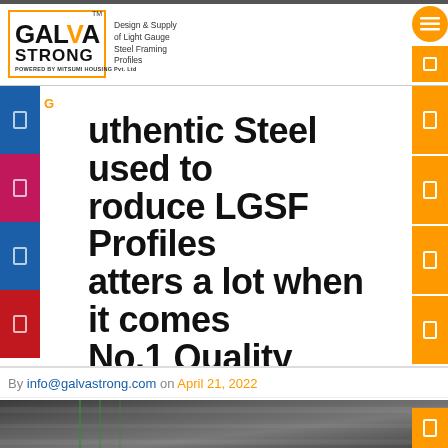[Figure (logo): GalvaStrong logo with orange border box, GALVA STRONG text, TM mark, Design & Supply of Light Gauge Steel Framing Profiles tagline, POWERED BY MITSUMI HOUSING Pvt. Ltd text]
Authentic Steel used to produce LGSF Profiles matters a lot when it comes to No.1 Quality Construction
By info@galvastrong.com on April 21, 2022
[Figure (photo): Partial view of steel framing profiles/coils in dark grey tones]